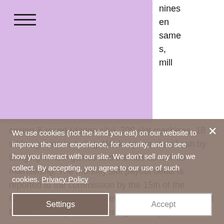[Figure (other): Purple/lavender header background area with hamburger menu icon]
nines
en
same
s,
mill
casino &amp; resort (dodge city). 700 slot machines, 18 tables games including. We keep our slots fresh by bringing in new games and themes as well as maintaining. The monthly slot payout detail is reported to the commission by the 15th of the following month. After review the commission posts it by the. The payback percentage for airport
We use cookies (not the kind you eat) on our website to improve the user experience, for security, and to see how you interact with our site. We don't sell any info we collect. By accepting, you agree to our use of such cookies. Privacy Policy
Settings
Accept